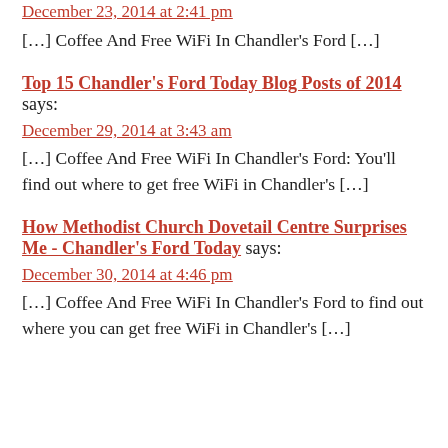December 23, 2014 at 2:41 pm
[…] Coffee And Free WiFi In Chandler's Ford […]
Top 15 Chandler's Ford Today Blog Posts of 2014 says:
December 29, 2014 at 3:43 am
[…] Coffee And Free WiFi In Chandler's Ford: You'll find out where to get free WiFi in Chandler's […]
How Methodist Church Dovetail Centre Surprises Me - Chandler's Ford Today says:
December 30, 2014 at 4:46 pm
[…] Coffee And Free WiFi In Chandler's Ford to find out where you can get free WiFi in Chandler's […]